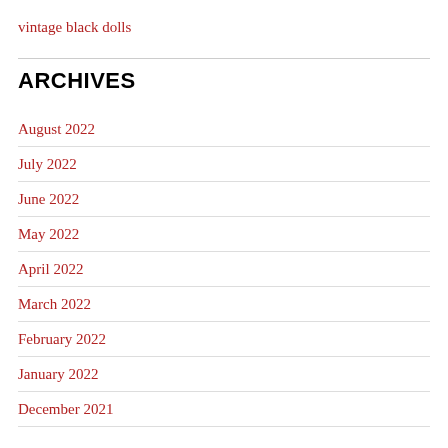vintage black dolls
ARCHIVES
August 2022
July 2022
June 2022
May 2022
April 2022
March 2022
February 2022
January 2022
December 2021